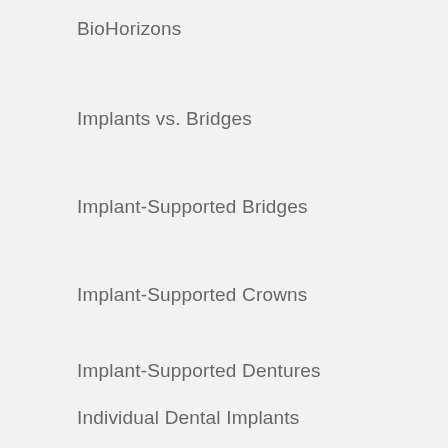BioHorizons
Implants vs. Bridges
Implant-Supported Bridges
Implant-Supported Crowns
Implant-Supported Dentures
Individual Dental Implants